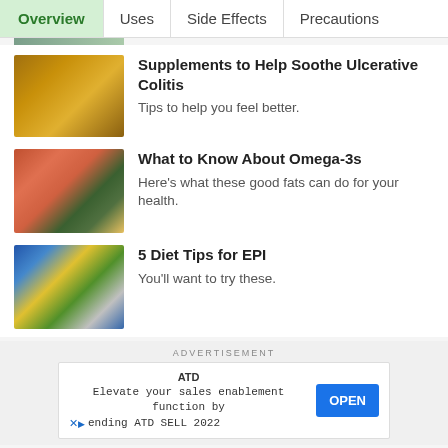Overview | Uses | Side Effects | Precautions
[Figure (photo): Bowl of turmeric spice powder, golden yellow color]
Supplements to Help Soothe Ulcerative Colitis
Tips to help you feel better.
[Figure (photo): Grilled salmon fillet with lemon slices and vegetables]
What to Know About Omega-3s
Here's what these good fats can do for your health.
[Figure (photo): Meal prep containers with food portions]
5 Diet Tips for EPI
You'll want to try these.
ADVERTISEMENT
ATD
Elevate your sales enablement function by
ATD SELL 2022 — OPEN